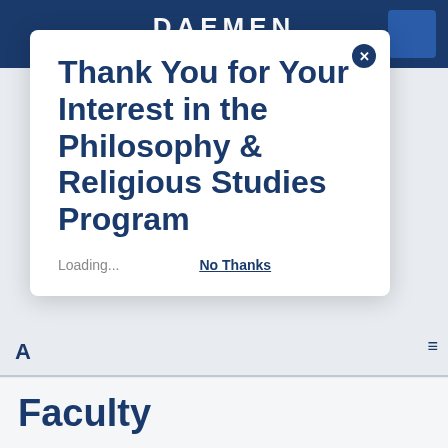DAEMEN
Thank You for Your Interest in the Philosophy & Religious Studies Program
Loading...
No Thanks
Faculty